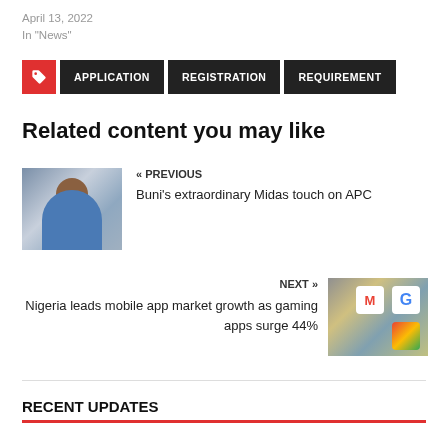April 13, 2022
In "News"
APPLICATION  REGISTRATION  REQUIREMENT
Related content you may like
[Figure (photo): Photo of a man in blue traditional attire seated at a desk with Nigerian flag in background]
« PREVIOUS
Buni's extraordinary Midas touch on APC
[Figure (photo): Photo showing mobile app icons including Google, Gmail, Google Maps on a smartphone screen]
NEXT »
Nigeria leads mobile app market growth as gaming apps surge 44%
RECENT UPDATES